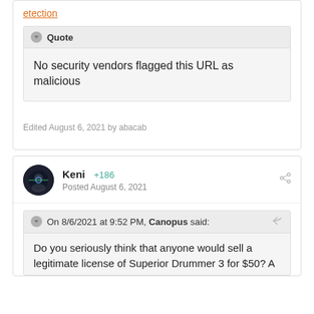etection
Quote
No security vendors flagged this URL as malicious
Edited August 6, 2021 by abacab
Keni +186
Posted August 6, 2021
On 8/6/2021 at 9:52 PM, Canopus said:
Do you seriously think that anyone would sell a legitimate license of Superior Drummer 3 for $50? A